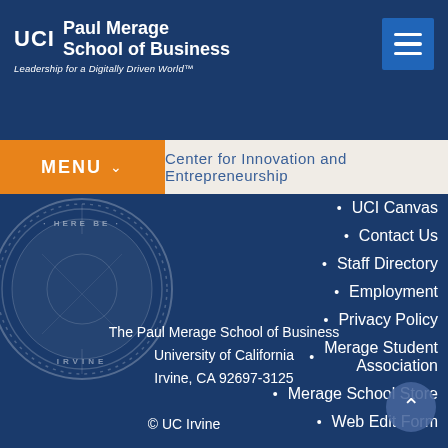UCI Paul Merage School of Business – Leadership for a Digitally Driven World™
MENU – Center for Innovation and Entrepreneurship
[Figure (logo): UCI seal/emblem watermark in dark blue]
UCI Canvas
Contact Us
Staff Directory
Employment
Privacy Policy
Merage Student Association
Merage School Store
Web Edit Form
The Paul Merage School of Business
University of California
Irvine, CA 92697-3125
© UC Irvine